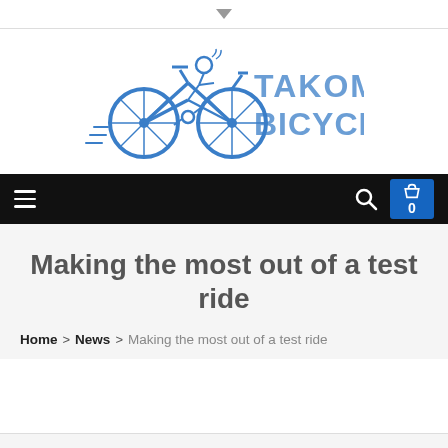[Figure (logo): Takoma Bicycle logo: blue bicycle illustration with the text TAKOMA BICYCLE in blue block letters]
Navigation bar with hamburger menu, search icon, and cart (0)
Making the most out of a test ride
Home > News > Making the most out of a test ride